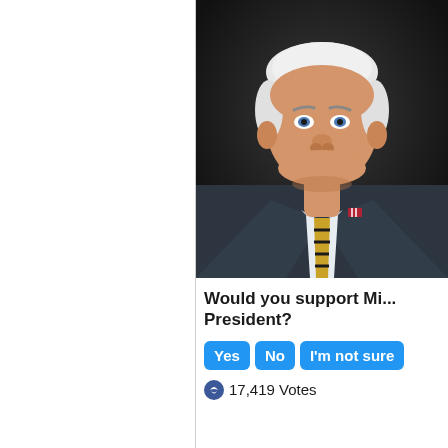[Figure (photo): Photograph of a man with white hair wearing a dark grey suit, light blue shirt, gold and black striped tie, and American flag pin on lapel, photographed against a dark background.]
Would you support Mi... President?
Yes  No  I'm not sure
17,419 Votes